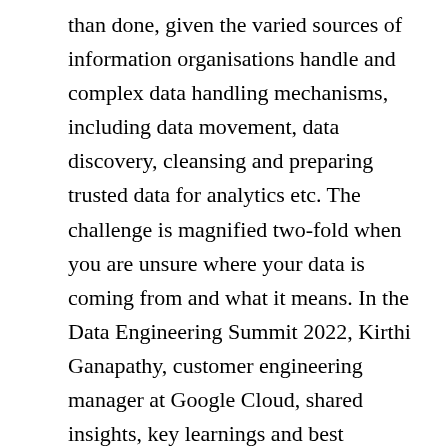than done, given the varied sources of information organisations handle and complex data handling mechanisms, including data movement, data discovery, cleansing and preparing trusted data for analytics etc. The challenge is magnified two-fold when you are unsure where your data is coming from and what it means. In the Data Engineering Summit 2022, Kirthi Ganapathy, customer engineering manager at Google Cloud, shared insights, key learnings and best practices around intelligent management of metadata, security and governance in a diverse and largely distributed data environment.